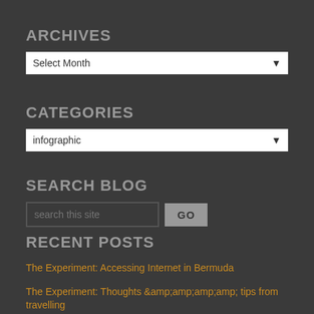ARCHIVES
[Figure (screenshot): Dropdown select menu showing 'Select Month' with a chevron arrow]
CATEGORIES
[Figure (screenshot): Dropdown select menu showing 'infographic' with a chevron arrow]
SEARCH BLOG
[Figure (screenshot): Search input field with placeholder 'search this site' and a GO button]
RECENT POSTS
The Experiment: Accessing Internet in Bermuda
The Experiment: Thoughts &amp;amp;amp;amp;amp; tips from travelling
The Brightroam Experiment